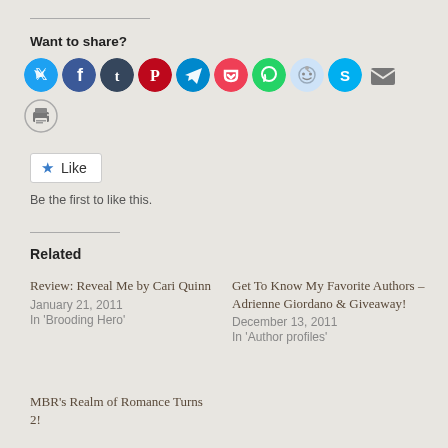Want to share?
[Figure (infographic): Row of social media sharing icons: Twitter (blue), Facebook (blue), Tumblr (dark navy), Pinterest (red), Telegram (blue), Pocket (pink/red), WhatsApp (green), Reddit (light blue/gray), Skype (blue), Email (gray), and a Print icon below]
[Figure (other): Like button with star icon and text 'Like']
Be the first to like this.
Related
Review: Reveal Me by Cari Quinn
January 21, 2011
In 'Brooding Hero'
Get To Know My Favorite Authors – Adrienne Giordano & Giveaway!
December 13, 2011
In 'Author profiles'
MBR's Realm of Romance Turns 2!